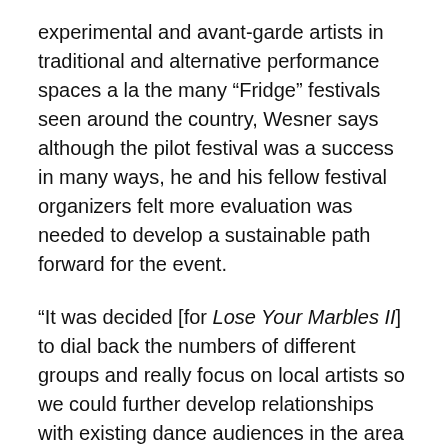experimental and avant-garde artists in traditional and alternative performance spaces a la the many “Fridge” festivals seen around the country, Wesner says although the pilot festival was a success in many ways, he and his fellow festival organizers felt more evaluation was needed to develop a sustainable path forward for the event.
“It was decided [for Lose Your Marbles II] to dial back the numbers of different groups and really focus on local artists so we could further develop relationships with existing dance audiences in the area and survey their interest in seeing other types of contemporary artists in future, says Wesner.”
This year’s scaled down festival is part of a strategy to get future festivals to a place where the initial goal of presenting tried and untried local,